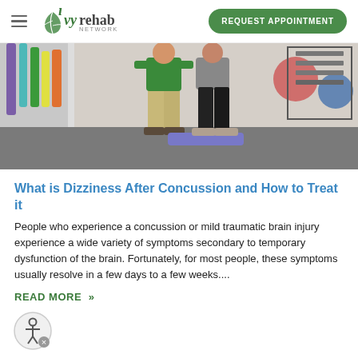Ivy Rehab Network — REQUEST APPOINTMENT
[Figure (photo): Physical therapist assisting a patient standing on a balance board in a rehabilitation gym. Exercise equipment including resistance bands, balance discs, and medicine balls visible in the background.]
What is Dizziness After Concussion and How to Treat it
People who experience a concussion or mild traumatic brain injury experience a wide variety of symptoms secondary to temporary dysfunction of the brain. Fortunately, for most people, these symptoms usually resolve in a few days to a few weeks....
READ MORE »